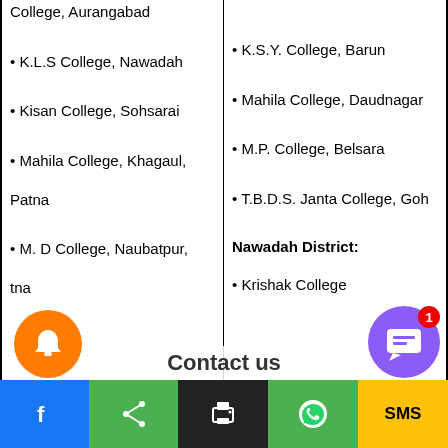College, Aurangabad
K.L.S College, Nawadah
Kisan College, Sohsarai
Mahila College, Khagaul, Patna
M. D College, Naubatpur, Patna
K.S.Y. College, Barun
Mahila College, Daudnagar
M.P. College, Belsara
T.B.D.S. Janta College, Goh
Nawadah District:
Krishak College